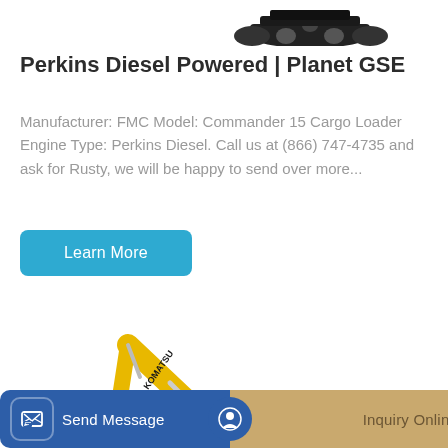[Figure (photo): Partial view of a cargo loader vehicle (tracks visible) at the top of the page]
Perkins Diesel Powered | Planet GSE
Manufacturer: FMC Model: Commander 15 Cargo Loader Engine Type: Perkins Diesel. Call us at (866) 747-4735 and ask for Rusty, we will be happy to send over more...
[Figure (photo): Yellow Komatsu excavator on white background, showing full side profile with boom arm extended]
Send Message   Inquiry Online